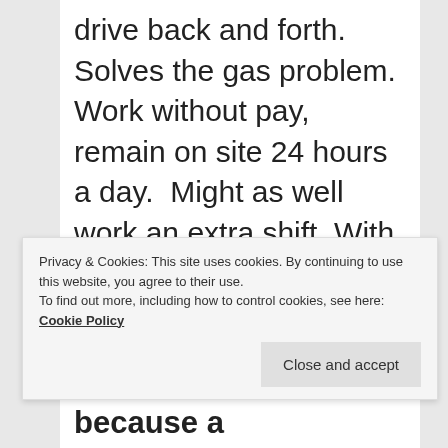drive back and forth. Solves the gas problem. Work without pay, remain on site 24 hours a day.  Might as well work an extra shift. With guards transformed into virtual prisoners, who takes care of the children at home? Some federal workers are single parents.
Privacy & Cookies: This site uses cookies. By continuing to use this website, you agree to their use.
To find out more, including how to control cookies, see here: Cookie Policy
alone and hungry because a